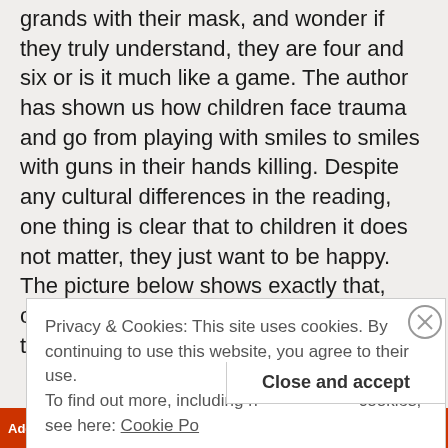don't realize how things affect children. I look at my grands with their mask, and wonder if they truly understand, they are four and six or is it much like a game. The author has shown us how children face trauma and go from playing with smiles to smiles with guns in their hands killing. Despite any cultural differences in the reading, one thing is clear that to children it does not matter, they just want to be happy.
The picture below shows exactly that, children with guns, smiles, along with a terrified child that
Privacy & Cookies: This site uses cookies. By continuing to use this website, you agree to their use.
To find out more, including how to control cookies, see here: Cookie Policy
Close and accept